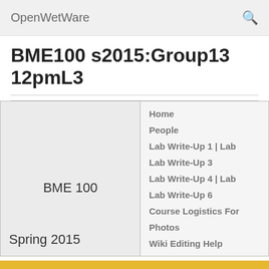OpenWetWare
BME100 s2015:Group13 12pmL3
| BME 100
Spring 2015 | Home
People
Lab Write-Up 1 | Lab
Lab Write-Up 3
Lab Write-Up 4 | Lab
Lab Write-Up 6
Course Logistics For
Photos
Wiki Editing Help |